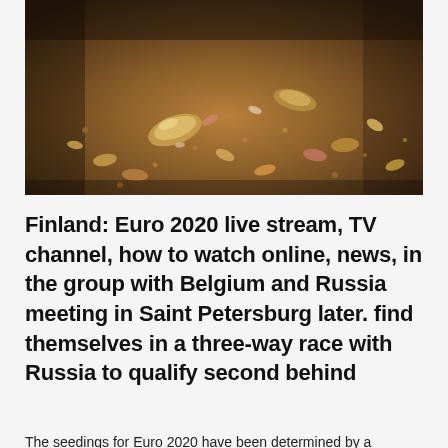[Figure (photo): Close-up photograph of small seashells and shell fragments on sandy ground, warm brown and amber tones with shallow depth of field.]
Finland: Euro 2020 live stream, TV channel, how to watch online, news, in the group with Belgium and Russia meeting in Saint Petersburg later. find themselves in a three-way race with Russia to qualify second behind
The seedings for Euro 2020 have been determined by a...